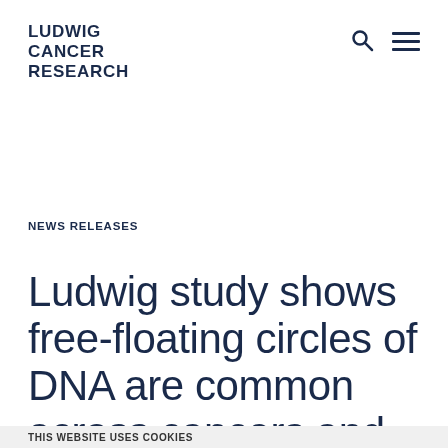LUDWIG CANCER RESEARCH
NEWS RELEASES
Ludwig study shows free-floating circles of DNA are common across cancers and drive poor patient
THIS WEBSITE USES COOKIES